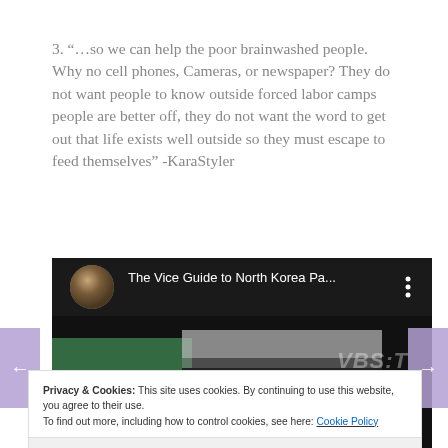3. “…so we can help the poor brainwashed people. Why no cell phones, Cameras, or newspaper? They do not want people to know outside forced labor camps people are better off, they do not want the word to get out that life exists well outside so they must escape to feed themselves” -KaraStyler
[Figure (screenshot): YouTube video embed showing 'The Vice Guide to North Korea Pa...' with a channel avatar, three-dot menu icon, and a thumbnail of a green-lit corridor with VICE logo watermark. Navigation arrows on left and right sides.]
Privacy & Cookies: This site uses cookies. By continuing to use this website, you agree to their use.
To find out more, including how to control cookies, see here: Cookie Policy
Close and accept